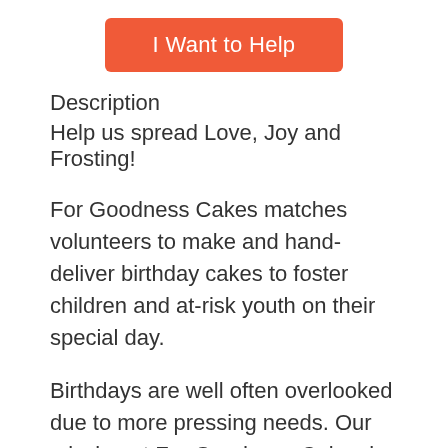[Figure (other): Orange rounded button labeled 'I Want to Help']
Description
Help us spread Love, Joy and Frosting!
For Goodness Cakes matches volunteers to make and hand-deliver birthday cakes to foster children and at-risk youth on their special day.
Birthdays are well often overlooked due to more pressing needs. Our mission at For Goodness Cakes is to give individual youth at least one special moment that is about them. By providing a child a treat made especially for them, it gives them some much needed time to not feel the increasing pressure of their